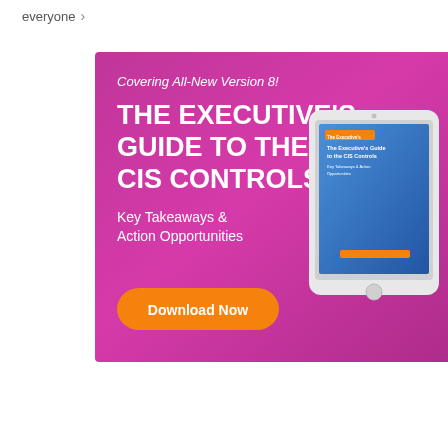everyone >
[Figure (illustration): Advertisement banner with purple/magenta gradient background featuring 'The Executive's Guide to the CIS Controls' book/ebook cover shown on a tablet device. Text includes 'Covering All-New Version 8!', 'THE EXECUTIVE'S GUIDE TO THE CIS CONTROLS', 'Key Takeaways & Action Opportunities', and an orange 'Download Now' button.]